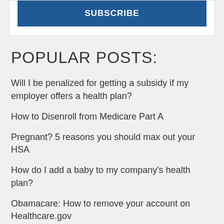SUBSCRIBE
POPULAR POSTS:
Will I be penalized for getting a subsidy if my employer offers a health plan?
How to Disenroll from Medicare Part A
Pregnant? 5 reasons you should max out your HSA
How do I add a baby to my company's health plan?
Obamacare: How to remove your account on Healthcare.gov